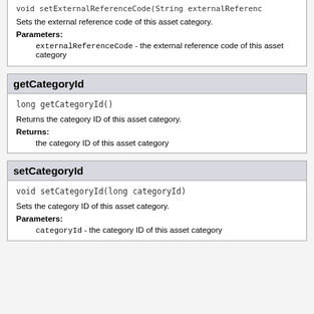void setExternalReferenceCode(String externalReferenc...
Sets the external reference code of this asset category.
Parameters:
externalReferenceCode - the external reference code of this asset category
getCategoryId
long getCategoryId()
Returns the category ID of this asset category.
Returns:
the category ID of this asset category
setCategoryId
void setCategoryId(long categoryId)
Sets the category ID of this asset category.
Parameters:
categoryId - the category ID of this asset category